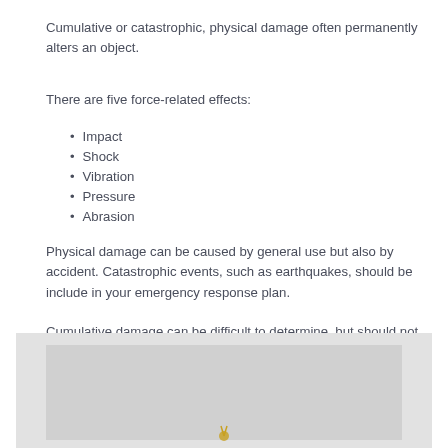Cumulative or catastrophic, physical damage often permanently alters an object.
There are five force-related effects:
Impact
Shock
Vibration
Pressure
Abrasion
Physical damage can be caused by general use but also by accident. Catastrophic events, such as earthquakes, should be include in your emergency response plan.
Cumulative damage can be difficult to determine, but should not be overlooked. Establish procedures to protect items from damage caused by vibration or abrasion.
[Figure (illustration): Gray image placeholder box at the bottom of the page, likely containing an illustration related to physical damage.]